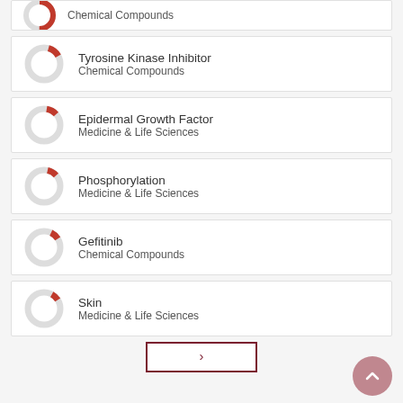Tyrosine — Chemical Compounds
Tyrosine Kinase Inhibitor — Chemical Compounds
Epidermal Growth Factor — Medicine & Life Sciences
Phosphorylation — Medicine & Life Sciences
Gefitinib — Chemical Compounds
Skin — Medicine & Life Sciences